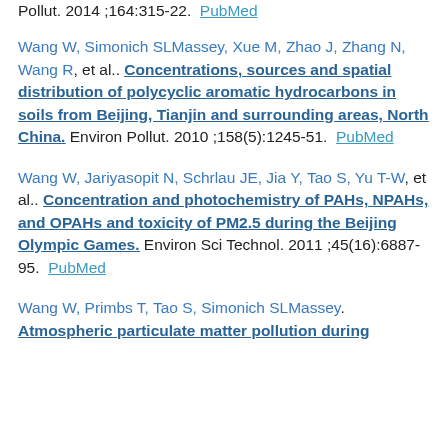Pollut. 2014 ;164:315-22.  PubMed
Wang W, Simonich SLMassey, Xue M, Zhao J, Zhang N, Wang R, et al.. Concentrations, sources and spatial distribution of polycyclic aromatic hydrocarbons in soils from Beijing, Tianjin and surrounding areas, North China. Environ Pollut. 2010 ;158(5):1245-51.  PubMed
Wang W, Jariyasopit N, Schrlau JE, Jia Y, Tao S, Yu T-W, et al.. Concentration and photochemistry of PAHs, NPAHs, and OPAHs and toxicity of PM2.5 during the Beijing Olympic Games. Environ Sci Technol. 2011 ;45(16):6887-95.  PubMed
Wang W, Primbs T, Tao S, Simonich SLMassey. Atmospheric particulate matter pollution during